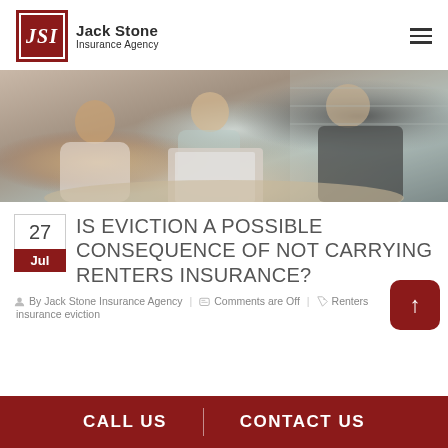Jack Stone Insurance Agency
[Figure (photo): Three people (two clients and an insurance agent) meeting at a table, looking at a laptop or documents, smiling.]
IS EVICTION A POSSIBLE CONSEQUENCE OF NOT CARRYING RENTERS INSURANCE?
27 Jul
By Jack Stone Insurance Agency
Comments are Off
Renters insurance eviction
CALL US | CONTACT US